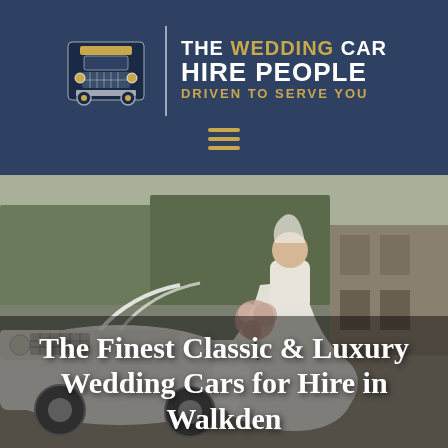[Figure (logo): The Wedding Car Hire People logo with vintage car illustration and text: THE WEDDING CAR HIRE PEOPLE, DRIVEN TO SERVE YOU]
[Figure (photo): A bride in a white wedding gown holding a bouquet of flowers standing beside a classic white luxury car, with a stone building in the background]
The Finest Classic & Luxury Wedding Cars for Hire in Walkden